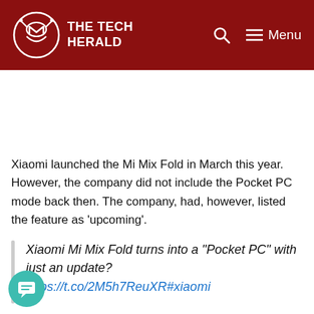THE TECH HERALD
Xiaomi launched the Mi Mix Fold in March this year. However, the company did not include the Pocket PC mode back then. The company, had, however, listed the feature as 'upcoming'.
Xiaomi Mi Mix Fold turns into a "Pocket PC" with just an update? https://t.co/2M5h7ReuXR#xiaomi